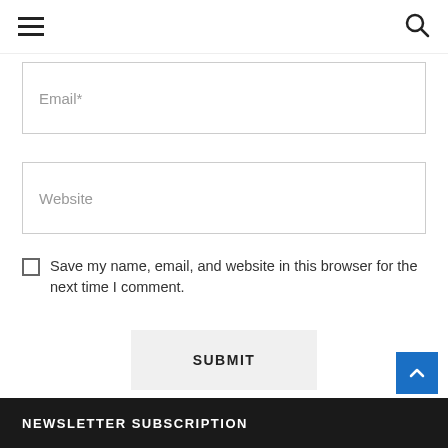≡  🔍
Email*
Website
Save my name, email, and website in this browser for the next time I comment.
SUBMIT
NEWSLETTER SUBSCRIPTION